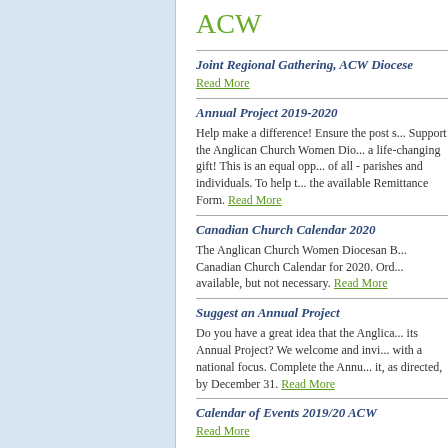ACW
Joint Regional Gathering, ACW Diocese
Read More
Annual Project 2019-2020
Help make a difference! Ensure the post s... Support the Anglican Church Women Dio... a life-changing gift! This is an equal opp... of all - parishes and individuals. To help t... the available Remittance Form. Read More
Canadian Church Calendar 2020
The Anglican Church Women Diocesan B... Canadian Church Calendar for 2020. Ord... available, but not necessary. Read More
Suggest an Annual Project
Do you have a great idea that the Anglica... its Annual Project? We welcome and invi... with a national focus. Complete the Annu... it, as directed, by December 31. Read More
Calendar of Events 2019/20 ACW
Read More